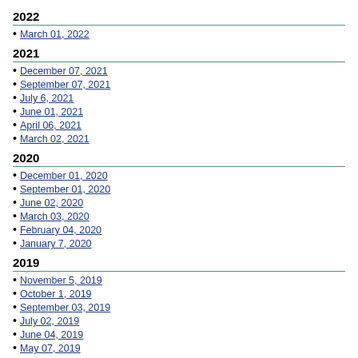2022
March 01, 2022
2021
December 07, 2021
September 07, 2021
July 6, 2021
June 01, 2021
April 06, 2021
March 02, 2021
2020
December 01, 2020
September 01, 2020
June 02, 2020
March 03, 2020
February 04, 2020
January 7, 2020
2019
November 5, 2019
October 1, 2019
September 03, 2019
July 02, 2019
June 04, 2019
May 07, 2019
April 02, 2019
March 05, 2019